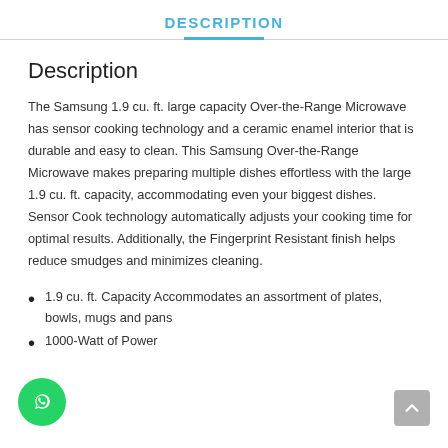DESCRIPTION
Description
The Samsung 1.9 cu. ft. large capacity Over-the-Range Microwave has sensor cooking technology and a ceramic enamel interior that is durable and easy to clean. This Samsung Over-the-Range Microwave makes preparing multiple dishes effortless with the large 1.9 cu. ft. capacity, accommodating even your biggest dishes. Sensor Cook technology automatically adjusts your cooking time for optimal results. Additionally, the Fingerprint Resistant finish helps reduce smudges and minimizes cleaning.
1.9 cu. ft. Capacity Accommodates an assortment of plates, bowls, mugs and pans
1000-Watt of Power